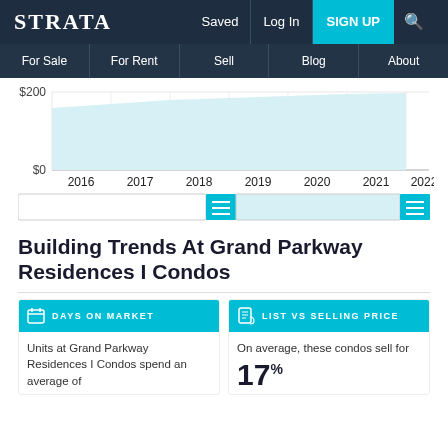STRATA | Saved | Log In | SIGN UP
For Sale | For Rent | Sell | Blog | About
[Figure (area-chart): Area chart showing price trends from 2016 to 2022, y-axis shows $0 to $200+]
[Figure (infographic): Horizontal legend bar with two segments: white/light segment and teal segment]
Building Trends At Grand Parkway Residences I Condos
DAYS ON MARKET
Units at Grand Parkway Residences I Condos spend an average of
LIST VS SELLING PRICE
On average, these condos sell for
17%